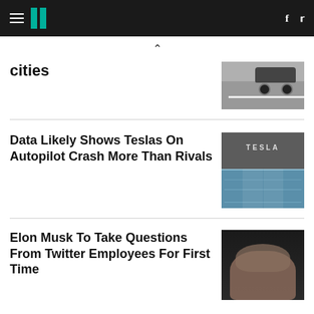HuffPost navigation with hamburger menu, logo, Facebook and Twitter icons
cities
[Figure (photo): Aerial or side view of a car on a road]
Data Likely Shows Teslas On Autopilot Crash More Than Rivals
[Figure (photo): Tesla building exterior with Tesla sign on gray wall and blue glass facade below]
Elon Musk To Take Questions From Twitter Employees For First Time
[Figure (photo): Portrait of Elon Musk against dark background]